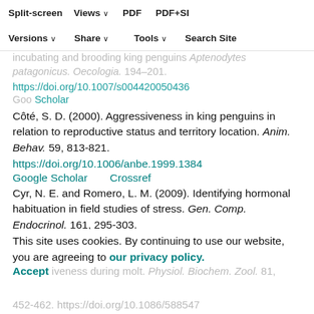Split-screen  Views  PDF  PDF+SI
Versions  Share  Tools  Search Site
Côté, S. D. (2000). Aggressiveness in king penguins in relation to reproductive status and territory location. Anim. Behav. 59, 813-821. https://doi.org/10.1006/anbe.1999.1384 Google Scholar  Crossref
Cyr, N. E. and Romero, L. M. (2009). Identifying hormonal habituation in field studies of stress. Gen. Comp. Endocrinol. 161, 295-303. https://doi.org/10.1016/j.ygcen.2009.02.001 Google Scholar  Crossref
This site uses cookies. By continuing to use our website, you are agreeing to our privacy policy. Accept
iveness during molt. Physiol. Biochem. Zool. 81, 452-462. https://doi.org/10.1086/588547